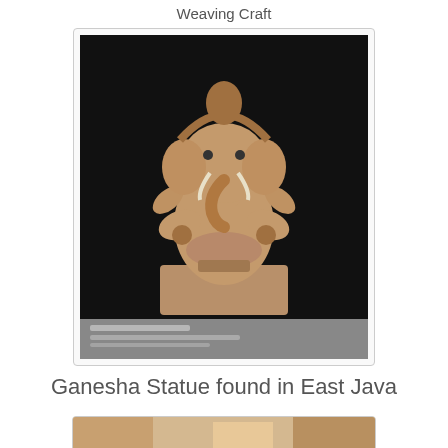Weaving Craft
[Figure (photo): A stone statue of Ganesha (elephant-headed Hindu deity) seated, displayed in a museum on a dark background, with a museum label below. The statue appears to be made of reddish-brown stone and shows Ganesha in a seated position with multiple arms.]
Ganesha Statue found in East Java
[Figure (photo): Partial view of another photograph at the bottom of the page, showing colorful imagery.]